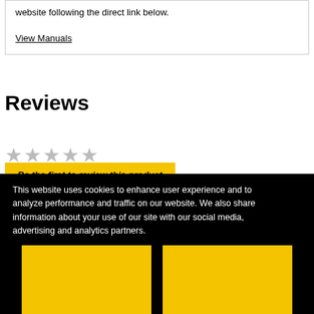website following the direct link below.
View Manuals
Reviews
[Figure (other): Five empty/grey star rating icons]
Be the first to review this product
This website uses cookies to enhance user experience and to analyze performance and traffic on our website. We also share information about your use of our site with our social media, advertising and analytics partners.
Do Not Share My Personal Information
Accept Cookies